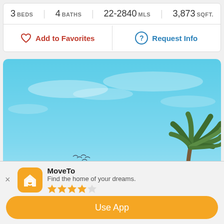| 3 BEDS | 4 BATHS | 22-2840 MLS | 3,873 SQFT. |
Add to Favorites
Request Info
[Figure (photo): Exterior photo of a property with terracotta/adobe building, palm tree on the right, and blue sky with light clouds in the background]
MoveTo
Find the home of your dreams.
★★★★☆
Use App